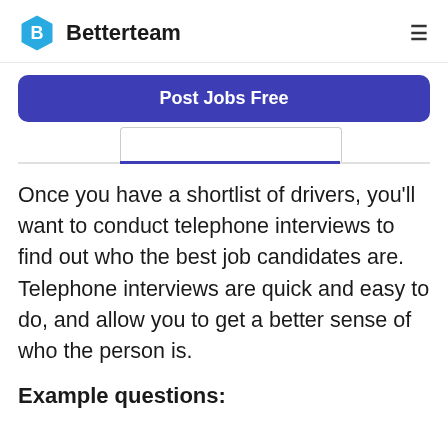Betterteam
[Figure (logo): Betterteam logo with blue hexagon B icon and text 'Betterteam', with hamburger menu icon on the right]
Post Jobs Free
Once you have a shortlist of drivers, you'll want to conduct telephone interviews to find out who the best job candidates are. Telephone interviews are quick and easy to do, and allow you to get a better sense of who the person is.
Example questions: